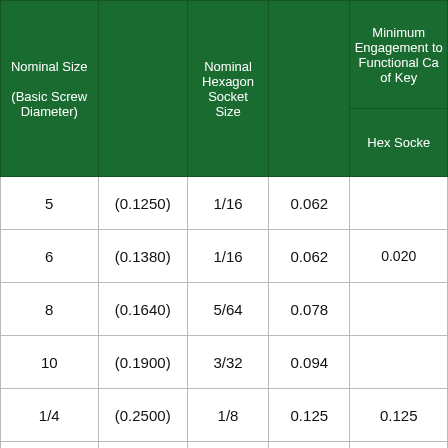| Nominal Size (Basic Screw Diameter) |  | Nominal Hexagon Socket Size |  | Minimum Engagement to Functional Cap of Key / Hex Socket |
| --- | --- | --- | --- | --- |
| 5 | (0.1250) | 1/16 | 0.062 |  |
| 6 | (0.1380) | 1/16 | 0.062 | 0.020 |
| 8 | (0.1640) | 5/64 | 0.078 |  |
| 10 | (0.1900) | 3/32 | 0.094 |  |
| 1/4 | (0.2500) | 1/8 | 0.125 | 0.125 |
| 5/16 | (0.3125) | 5/32 | 0.156 |  |
| 3/8 | (0.3750) | 3/16 | 0.188 | 0.188 |